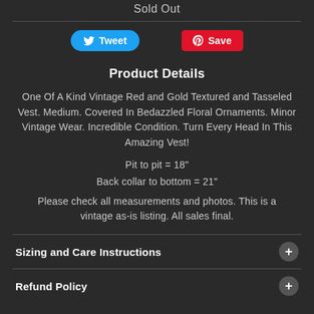Sold Out
[Figure (infographic): Twitter Tweet button (blue rounded) and Pinterest Save button (red rounded rectangle) social sharing buttons]
Product Details
One Of A Kind Vintage Red and Gold Textured and Tasseled Vest. Medium. Covered In Bedazzled Floral Ornaments. Minor Vintage Wear. Incredible Condition. Turn Every Head In This Amazing Vest!
Pit to pit = 18"
Back collar to bottom = 21"
Please check all measurements and photos. This is a vintage as-is listing. All sales final.
Sizing and Care Instructions
Refund Policy